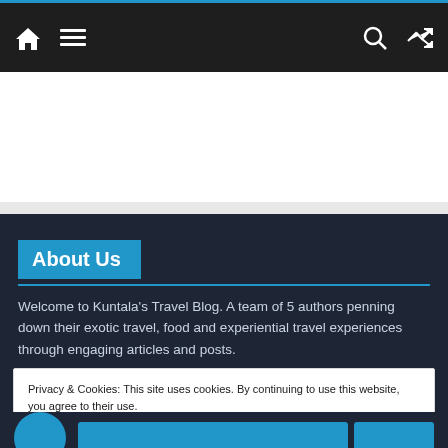Navigation bar with home icon, menu icon, search icon, and shuffle icon
[Figure (screenshot): White advertisement banner area]
About Us
Welcome to Kuntala's Travel Blog. A team of 5 authors penning down their exotic travel, food and experiential travel experiences through engaging articles and posts.
Privacy & Cookies: This site uses cookies. By continuing to use this website, you agree to their use. To find out more, including how to control cookies, see here: Cookie Policy
Close and accept